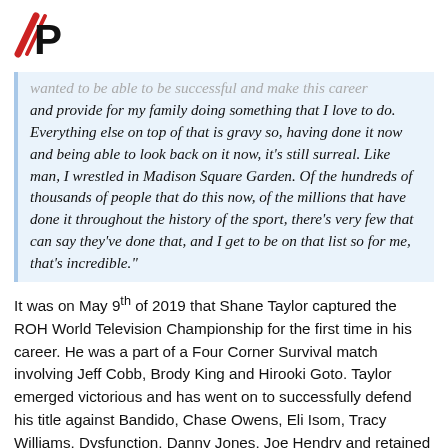Essentially P logo
wanted to be able to be successful and make this career and provide for my family doing something that I love to do. Everything else on top of that is gravy so, having done it now and being able to look back on it now, it's still surreal. Like man, I wrestled in Madison Square Garden. Of the hundreds of thousands of people that do this now, of the millions that have done it throughout the history of the sport, there's very few that can say they've done that, and I get to be on that list so for me, that's incredible."
It was on May 9th of 2019 that Shane Taylor captured the ROH World Television Championship for the first time in his career. He was a part of a Four Corner Survival match involving Jeff Cobb, Brody King and Hirooki Goto. Taylor emerged victorious and has went on to successfully defend his title against Bandido, Chase Owens, Eli Isom, Tracy Williams, Dysfunction, Danny Jones, Joe Hendry and retained his title in a four-way match during ROH's recent tour of the Uni feels that he is doing exactly what he said